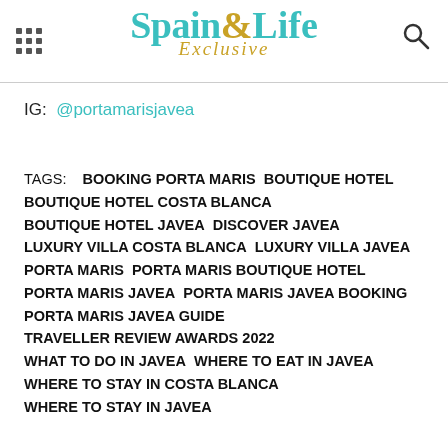Spain & Life Exclusive
IG: @portamarisjavea
TAGS: BOOKING PORTA MARIS  BOUTIQUE HOTEL  BOUTIQUE HOTEL COSTA BLANCA  BOUTIQUE HOTEL JAVEA  DISCOVER JAVEA  LUXURY VILLA COSTA BLANCA  LUXURY VILLA JAVEA  PORTA MARIS  PORTA MARIS BOUTIQUE HOTEL  PORTA MARIS JAVEA  PORTA MARIS JAVEA BOOKING  PORTA MARIS JAVEA GUIDE  TRAVELLER REVIEW AWARDS 2022  WHAT TO DO IN JAVEA  WHERE TO EAT IN JAVEA  WHERE TO STAY IN COSTA BLANCA  WHERE TO STAY IN JAVEA